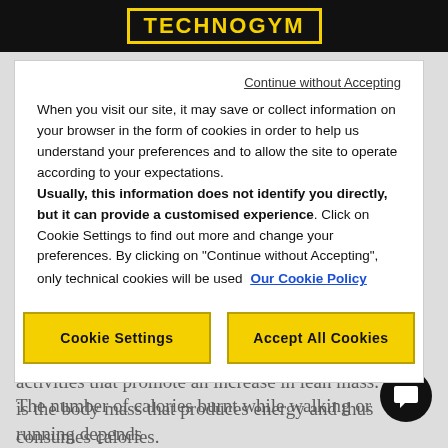TECHNOGYM
Continue without Accepting
When you visit our site, it may save or collect information on your browser in the form of cookies in order to help us understand your preferences and to allow the site to operate according to your expectations. Usually, this information does not identify you directly, but it can provide a customised experience. Click on Cookie Settings to find out more and change your preferences. By clicking on "Continue without Accepting", only technical cookies will be used
Our Cookie Policy
Cookie Settings
Accept All Cookies
calories is because walking and running are both activities that promote an increase in lean mass. This is the body mass that produces energy and thus consumes calories.
The number of calories burnt while walking or running depends